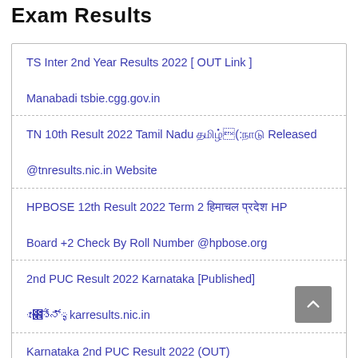Exam Results
TS Inter 2nd Year Results 2022 [ OUT Link ]
Manabadi tsbie.cgg.gov.in
TN 10th Result 2022 Tamil Nadu தமிழ்நாடு Released @tnresults.nic.in Website
HPBOSE 12th Result 2022 Term 2 हिमाचल प्रदेश HP Board +2 Check By Roll Number @hpbose.org
2nd PUC Result 2022 Karnataka [Published] ಫಲಿತಾಂಶ karresults.nic.in
Karnataka 2nd PUC Result 2022 (OUT)